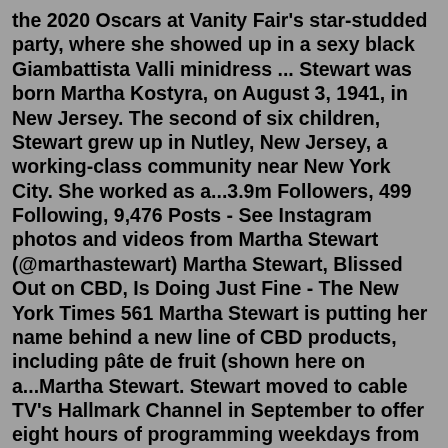the 2020 Oscars at Vanity Fair's star-studded party, where she showed up in a sexy black Giambattista Valli minidress ... Stewart was born Martha Kostyra, on August 3, 1941, in New Jersey. The second of six children, Stewart grew up in Nutley, New Jersey, a working-class community near New York City. She worked as a...3.9m Followers, 499 Following, 9,476 Posts - See Instagram photos and videos from Martha Stewart (@marthastewart) Martha Stewart, Blissed Out on CBD, Is Doing Just Fine - The New York Times 561 Martha Stewart is putting her name behind a new line of CBD products, including pâte de fruit (shown here on a...Martha Stewart. Stewart moved to cable TV's Hallmark Channel in September to offer eight hours of programming weekdays from 10 a.m. to 6 p.m. The debut left room for improvement, similar to her ... Feb 22, 2021 · 3. Martha Stewart died on February 17, 2021, at the age of 98 Credit: Alamy. Stewart's most famous role came as murder victim Mildred Atkinson in In A Lonely Place. She retired from acting in the 1960s and started...